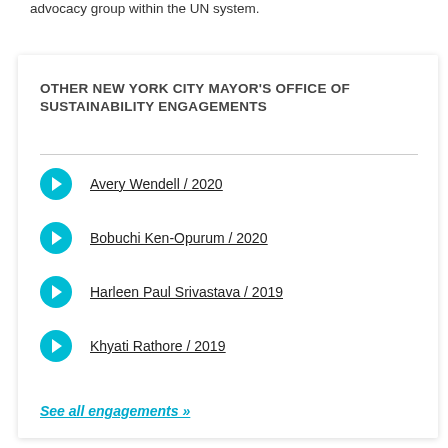advocacy group within the UN system.
OTHER NEW YORK CITY MAYOR'S OFFICE OF SUSTAINABILITY ENGAGEMENTS
Avery Wendell / 2020
Bobuchi Ken-Opurum / 2020
Harleen Paul Srivastava / 2019
Khyati Rathore / 2019
See all engagements »